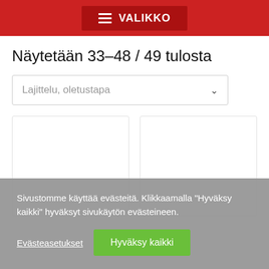VALIKKO
Näytetään 33–48 / 49 tulosta
Lajittelu, oletustapa
[Figure (other): Two empty white product card placeholders side by side]
Sivustomme käyttää evästeitä. Klikkaamalla "Hyväksy kaikki" hyväksyt sivukäytön evästeineen.
Evästeasetukset
Hyväksy kaikki